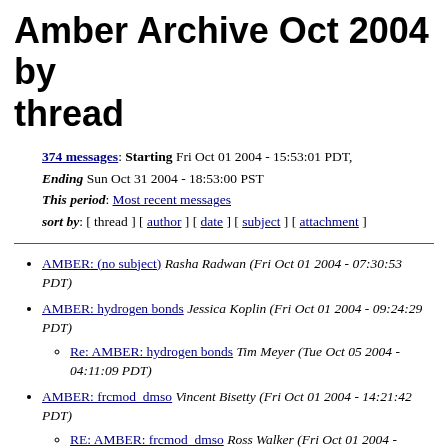Amber Archive Oct 2004 by thread
374 messages: Starting Fri Oct 01 2004 - 15:53:01 PDT, Ending Sun Oct 31 2004 - 18:53:00 PST
This period: Most recent messages
sort by: [ thread ] [ author ] [ date ] [ subject ] [ attachment ]
AMBER: (no subject) Rasha Radwan (Fri Oct 01 2004 - 07:30:53 PDT)
AMBER: hydrogen bonds Jessica Koplin (Fri Oct 01 2004 - 09:24:29 PDT)
  Re: AMBER: hydrogen bonds Tim Meyer (Tue Oct 05 2004 - 04:11:09 PDT)
AMBER: frcmod_dmso Vincent Bisetty (Fri Oct 01 2004 - 14:21:42 PDT)
  RE: AMBER: frcmod_dmso Ross Walker (Fri Oct 01 2004 - 15:05:05 PDT)
  RE: AMBER: frcmod_dmso Ross Walker (Tue Oct 05 2004 - 13:10:41 PDT)
AMBER: amber 8 error Abd Ghani Bin Abd Aziz (Sat Oct 02 ...)